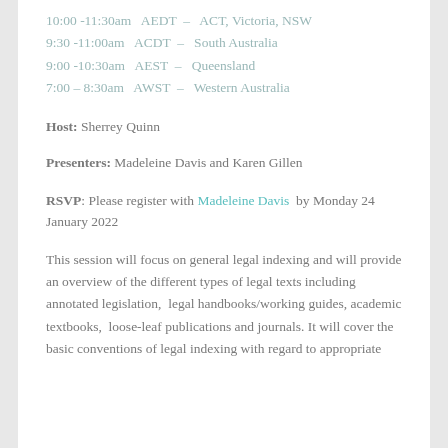10:00 -11:30am  AEDT  –  ACT, Victoria, NSW
9:30 -11:00am  ACDT  –  South Australia
9:00 -10:30am  AEST  –  Queensland
7:00 – 8:30am  AWST  –  Western Australia
Host: Sherrey Quinn
Presenters: Madeleine Davis and Karen Gillen
RSVP:  Please register with Madeleine Davis  by Monday 24 January 2022
This session will focus on general legal indexing and will provide an overview of the different types of legal texts including annotated legislation,  legal handbooks/working guides, academic textbooks,  loose-leaf publications and journals. It will cover the basic conventions of legal indexing with regard to appropriate